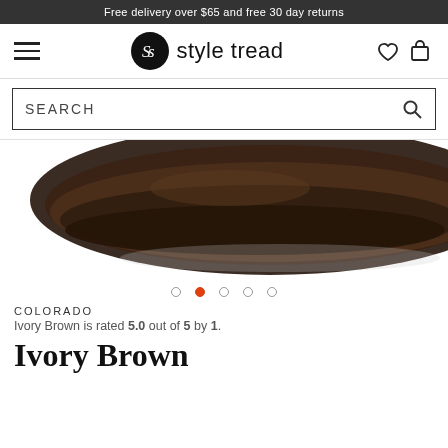Free delivery over $65 and free 30 day returns
[Figure (logo): Style Tread logo with hamburger menu, circular S logo, wordmark 'style tread', heart and bag icons]
[Figure (screenshot): Search bar with 'SEARCH' placeholder text and magnifying glass icon]
[Figure (photo): Close-up photo of a dark brown shoe sole/heel against white background]
[Figure (infographic): Carousel navigation dots: 5 dots, second one active (orange/red)]
COLORADO
Ivory Brown is rated 5.0 out of 5 by 1.
Ivory Brown